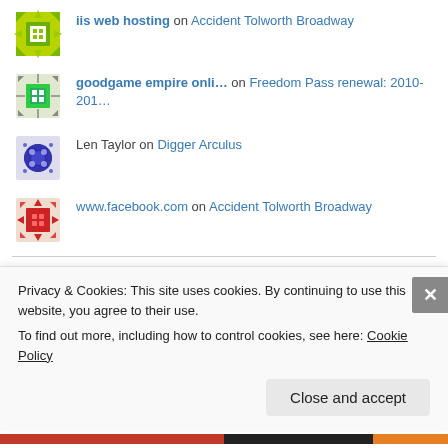iis web hosting on Accident Tolworth Broadway
goodgame empire onli… on Freedom Pass renewal: 2010-201…
Len Taylor on Digger Arculus
www.facebook.com on Accident Tolworth Broadway
Earlier posts
Privacy & Cookies: This site uses cookies. By continuing to use this website, you agree to their use.
To find out more, including how to control cookies, see here: Cookie Policy